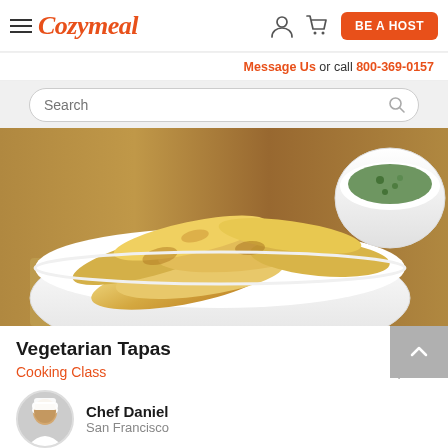Cozymeal — BE A HOST — Message Us or call 800-369-0157
Search
[Figure (photo): Food photo showing golden fried empanadas in a white bowl on a wooden surface with burlap, with a small white bowl of green herb sauce in the upper right]
Vegetarian Tapas
Cooking Class	$139
Chef Daniel
San Francisco
442 reviews